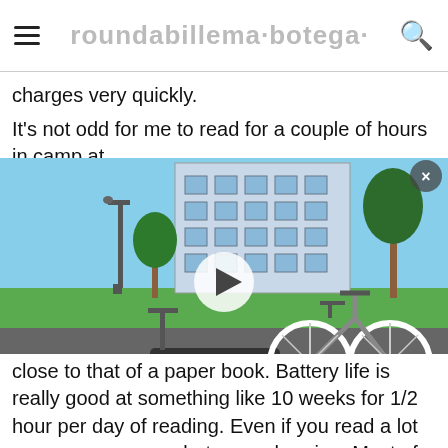charges very quickly.
It’s not odd for me to read for a couple of hours in camp at
[Figure (photo): Video thumbnail showing a bicycle and a skateboard with a handle on a road in front of a building with trees, with a play button overlay and close button]
close to that of a paper book. Battery life is really good at something like 10 weeks for 1/2 hour per day of reading. Even if you read a lot you can go a ways between charging. Most of my reading on tour has gone to audio books on my phone though. I do have a bible app on the phone, but to be